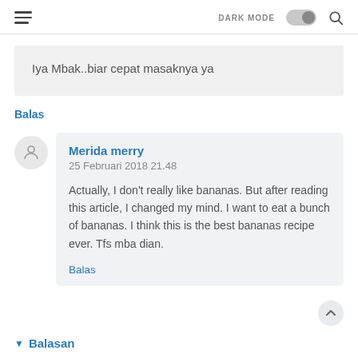DARK MODE [toggle] [search]
Iya Mbak..biar cepat masaknya ya
Balas
Merida merry
25 Februari 2018 21.48
Actually, I don't really like bananas. But after reading this article, I changed my mind. I want to eat a bunch of bananas. I think this is the best bananas recipe ever. Tfs mba dian.
Balas
Balasan